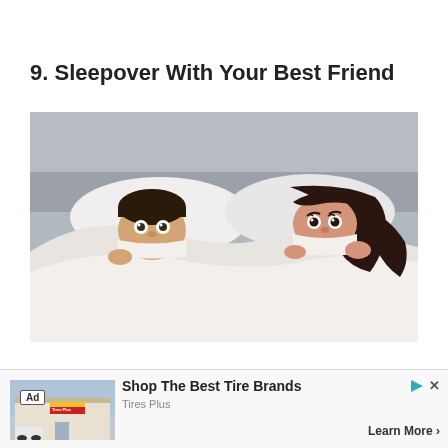9. Sleepover With Your Best Friend
[Figure (photo): A man and woman in bed together, both peeking over white bed covers with wide eyes, lying on white pillows with a grey headboard in the background.]
[Figure (other): Advertisement banner: Shop The Best Tire Brands - Tires Plus, Learn More arrow. Ad image shows a Tires Plus store exterior.]